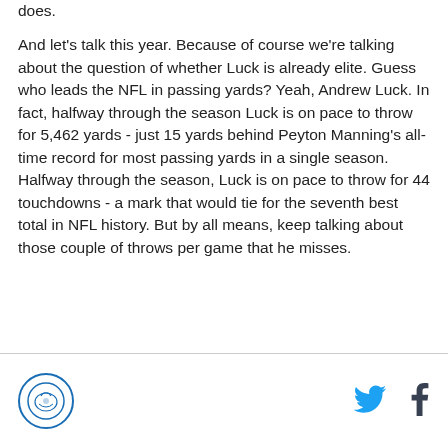does.
And let's talk this year.  Because of course we're talking about the question of whether Luck is already elite.  Guess who leads the NFL in passing yards?  Yeah, Andrew Luck.  In fact, halfway through the season Luck is on pace to throw for 5,462 yards - just 15 yards behind Peyton Manning's all-time record for most passing yards in a single season.  Halfway through the season, Luck is on pace to throw for 44 touchdowns - a mark that would tie for the seventh best total in NFL history.  But by all means, keep talking about those couple of throws per game that he misses.
[Figure (logo): Circular logo with horse icon and blue border]
[Figure (logo): Twitter bird icon in blue]
[Figure (logo): Facebook 'f' icon in dark color]